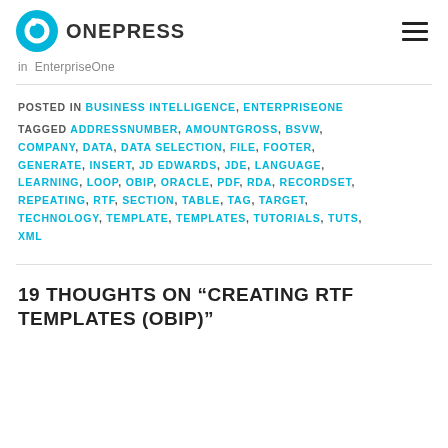ONEPRESS
in EnterpriseOne
POSTED IN BUSINESS INTELLIGENCE, ENTERPRISEONE
TAGGED ADDRESSNUMBER, AMOUNTGROSS, BSVW, COMPANY, DATA, DATA SELECTION, FILE, FOOTER, GENERATE, INSERT, JD EDWARDS, JDE, LANGUAGE, LEARNING, LOOP, OBIP, ORACLE, PDF, RDA, RECORDSET, REPEATING, RTF, SECTION, TABLE, TAG, TARGET, TECHNOLOGY, TEMPLATE, TEMPLATES, TUTORIALS, TUTS, XML
19 THOUGHTS ON “CREATING RTF TEMPLATES (OBIP)”